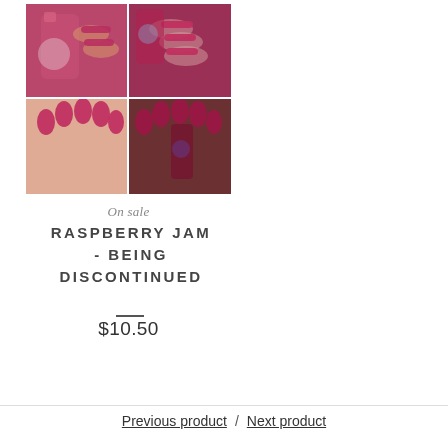[Figure (photo): A 4-quadrant collage of raspberry-colored nail polish swatches and bottles. Top-left: hand holding a pink/red nail polish bottle with branded label. Top-right: hand with raspberry-mauve nails holding a branded bottle against a white background. Bottom-left: hand with bright raspberry-red nails close-up. Bottom-right: darker-toned hand with deep raspberry nails and a branded bottle visible.]
On sale
RASPBERRY JAM - BEING DISCONTINUED
$10.50
Previous product / Next product